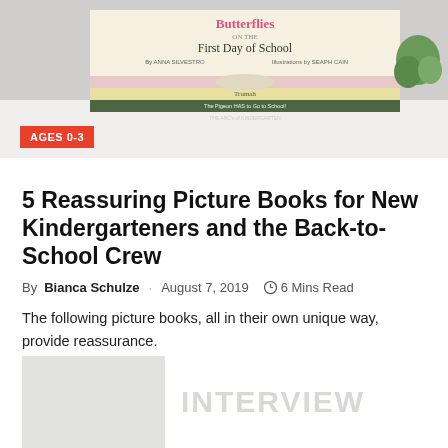[Figure (photo): Stack of children's picture books on a white surface, top book shows 'Butterflies on the First Day of School' by Anna Silvestro, illustrated by Seaph Cain. Other books visible include Trudah and The Pigeon Has to Go to School. A green plant is in the background. Red badge in bottom-left reads 'AGES 0-3'.]
5 Reassuring Picture Books for New Kindergarteners and the Back-to-School Crew
By Bianca Schulze · August 7, 2019  6 Mins Read
The following picture books, all in their own unique way, provide reassurance.
[Figure (photo): Partial view of a book cover on the left (light colored, mostly white/gray), and on the right in large light gray letters: INTERVIEW]